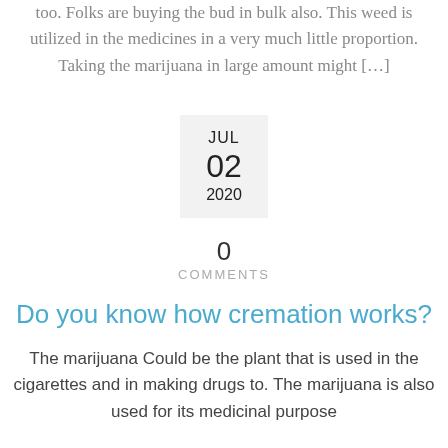too. Folks are buying the bud in bulk also. This weed is utilized in the medicines in a very much little proportion. Taking the marijuana in large amount might […]
[Figure (other): Date box showing JUL 02 2020]
0
COMMENTS
Do you know how cremation works?
The marijuana Could be the plant that is used in the cigarettes and in making drugs to. The marijuana is also used for its medicinal purpose